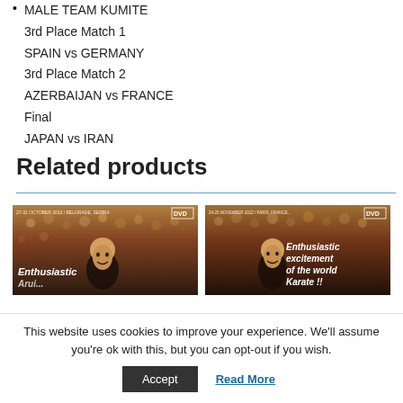MALE TEAM KUMITE
3rd Place Match 1
SPAIN vs GERMANY
3rd Place Match 2
AZERBAIJAN vs FRANCE
Final
JAPAN vs IRAN
Related products
[Figure (photo): DVD cover showing karate event crowd scene with text 'Enthusiastic' overlay, dated 27-31 October 2013, Belgrade, Serbia]
[Figure (photo): DVD cover showing karate event crowd scene with text 'Enthusiastic excitement of the world Karate !!' overlay, dated 24-25 November 2012, Paris, France]
This website uses cookies to improve your experience. We'll assume you're ok with this, but you can opt-out if you wish.